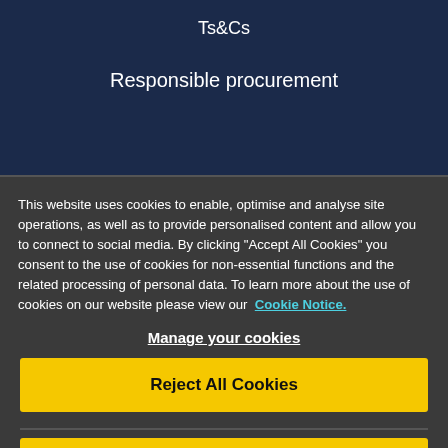Ts&Cs
Responsible procurement
This website uses cookies to enable, optimise and analyse site operations, as well as to provide personalised content and allow you to connect to social media. By clicking "Accept All Cookies" you consent to the use of cookies for non-essential functions and the related processing of personal data. To learn more about the use of cookies on our website please view our Cookie Notice.
Manage your cookies
Reject All Cookies
Accept All Cookies